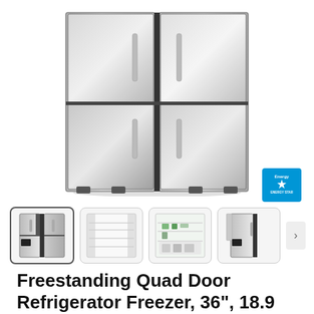[Figure (photo): Large stainless steel freestanding quad door refrigerator freezer, showing two top and two bottom doors, stainless steel finish, photographed from the front]
[Figure (logo): Energy Star certification badge in blue]
[Figure (photo): Thumbnail row showing four product views: 1) front closed doors with display panel, 2) open doors showing interior shelves, 3) open doors showing full interior with food, 4) side view with door open. A right arrow navigation button is visible at the end.]
Freestanding Quad Door Refrigerator Freezer, 36", 18.9 cu ft, Ice & Water